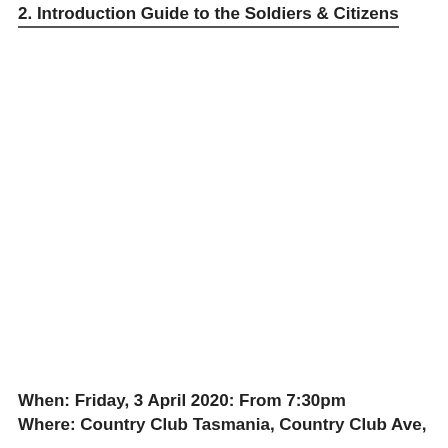2. Introduction Guide to the Soldiers & Citizens
When: Friday, 3 April 2020: From 7:30pm
Where: Country Club Tasmania, Country Club Ave,